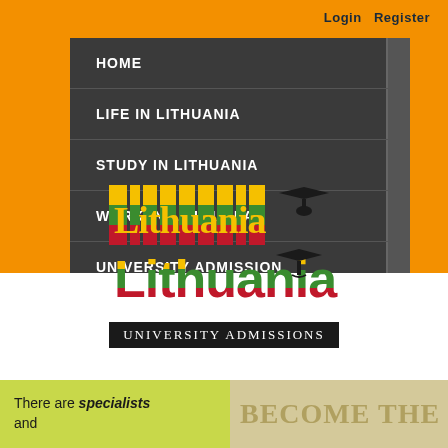Login  Register
HOME
LIFE IN LITHUANIA
STUDY IN LITHUANIA
WORK IN LITHUANIA
UNIVERSITY ADMISSION
CONTACT
[Figure (logo): Lithuania University Admissions logo with colorful stacked-book style lettering and graduation cap, with black banner reading UNIVERSITY ADMISSIONS]
There are specialists and
BECOME THE RIG